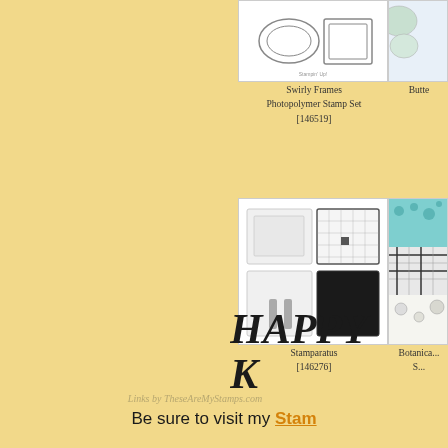[Figure (photo): Swirly Frames Photopolymer Stamp Set product image on white background]
Swirly Frames Photopolymer Stamp Set [146519]
[Figure (photo): Partially visible product image on right (Butte...)]
Butte...
[Figure (photo): Stamparatus product image showing stamp alignment tool]
Stamparatus [146276]
[Figure (photo): Botanical patterned paper product (partially visible)]
Botanica... S...
Links by TheseAreMyStamps.com
HAPPY
K
Be sure to visit my Stam...